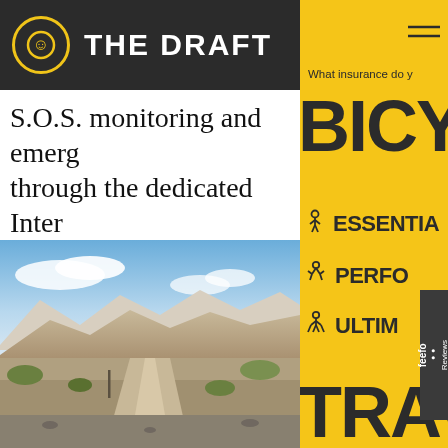THE DRAFT
S.O.S. monitoring and emergency through the dedicated International Emergency Rescue Coordination (IERCC) based in Houston, T
[Figure (photo): Desert landscape with a dirt road winding through arid terrain with pale mountains in the background and green shrubs, under a partly cloudy sky]
What insurance do y
BICYC
ESSENTIA
PERFO
ULTIM
TRAVE